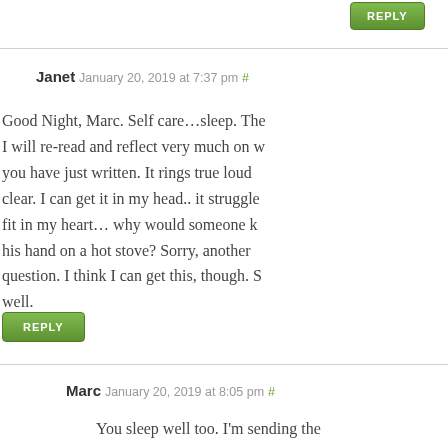[Figure (other): Green REPLY button at top]
Janet January 20, 2019 at 7:37 pm #
Good Night, Marc. Self care…sleep. The I will re-read and reflect very much on you have just written. It rings true loud clear. I can get it in my head.. it struggle fit in my heart… why would someone k his hand on a hot stove? Sorry, another question. I think I can get this, though. S well.
[Figure (other): Green REPLY button]
Marc January 20, 2019 at 8:05 pm #
You sleep well too. I'm sending the moon your way…I guess it'll still be